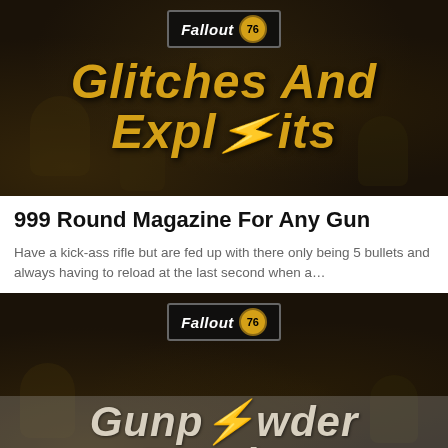[Figure (screenshot): Fallout 76 game thumbnail with yellow italic text reading 'Glitches And Exploits' on a dark background with game imagery]
999 Round Magazine For Any Gun
Have a kick-ass rifle but are fed up with there only being 5 bullets and always having to reload at the last second when a…
[Figure (screenshot): Fallout 76 game thumbnail with yellow italic text reading 'Gunpowder Farming' on a dark background with game imagery]